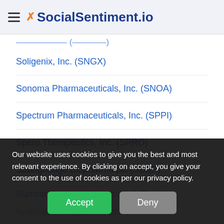SocialSentiment.io
Soligenix, Inc. (SNGX)
Sonoma Pharmaceuticals, Inc. (SNOA)
Spectrum Pharmaceuticals, Inc. (SPPI)
Spero Therapeutics, Inc. (SPRO)
Strongbridge Biopharma plc (SBBP)
Summit Therapeutics plc (SMMT)
Synthetic Biologics, Inc. (SYN)
Syros Pharmaceuticals, Inc.
Our website uses cookies to give you the best and most relevant experience. By clicking on accept, you give your consent to the use of cookies as per our privacy policy.